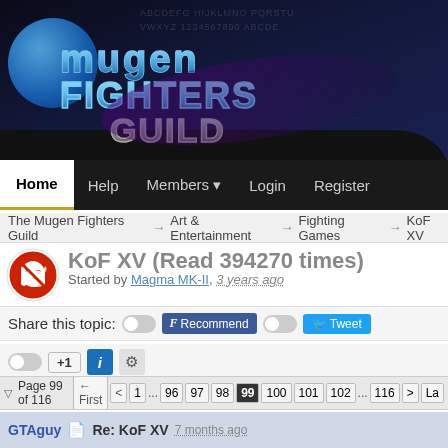[Figure (logo): Mugen Fighters Guild logo with globe and stylized metallic text on dark background]
Home | Help | Members | Login | Register
The Mugen Fighters Guild → Art & Entertainment → Fighting Games → KoF XV
KoF XV (Read 394270 times)
Started by Magma MK-II, 3 years ago
Share this topic:  [toggle] F Recommend  [toggle] Tweet
[toggle] +1  i  ⚙
Page 99 of 116 ← First < 1 ... 96 97 98 99 100 101 102 ... 116 > La
GTAguy  Re: KoF XV  7 months ago